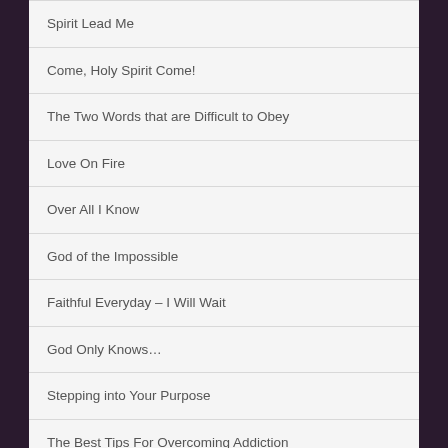Spirit Lead Me
Come, Holy Spirit Come!
The Two Words that are Difficult to Obey
Love On Fire
Over All I Know
God of the Impossible
Faithful Everyday – I Will Wait
God Only Knows…
Stepping into Your Purpose
The Best Tips For Overcoming Addiction